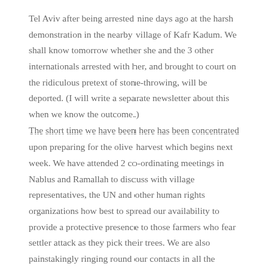Tel Aviv after being arrested nine days ago at the harsh demonstration in the nearby village of Kafr Kadum. We shall know tomorrow whether she and the 3 other internationals arrested with her, and brought to court on the ridiculous pretext of stone-throwing, will be deported. (I will write a separate newsletter about this when we know the outcome.) The short time we have been here has been concentrated upon preparing for the olive harvest which begins next week. We have attended 2 co-ordinating meetings in Nablus and Ramallah to discuss with village representatives, the UN and other human rights organizations how best to spread our availability to provide a protective presence to those farmers who fear settler attack as they pick their trees. We are also painstakingly ringing round our contacts in all the villages of the region to repeat our offers to help – not an easy job at all but a function that lies at the heart of our work. We have also participated in village rituals surrounding both marriage and death, for life goes on here in all its